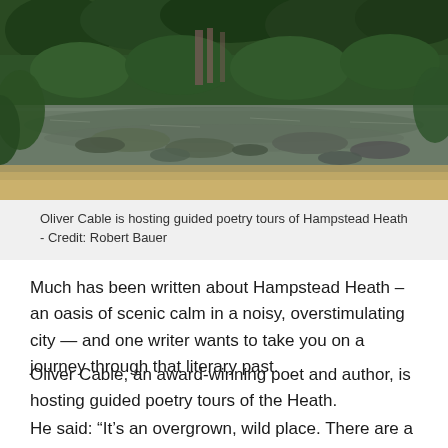[Figure (photo): Photograph of Hampstead Heath showing a pond or lake with lily pads, lush green trees and vegetation in the background, and warm golden-brown tones in the foreground water. A structure is partially visible through the trees.]
Oliver Cable is hosting guided poetry tours of Hampstead Heath - Credit: Robert Bauer
Much has been written about Hampstead Heath – an oasis of scenic calm in a noisy, overstimulating city — and one writer wants to take you on a journey through that literary past.
Oliver Cable, an award-winning poet and author, is hosting guided poetry tours of the Heath.
He said: “It’s an overgrown, wild place. There are a lot of places that people aren’t aware of.